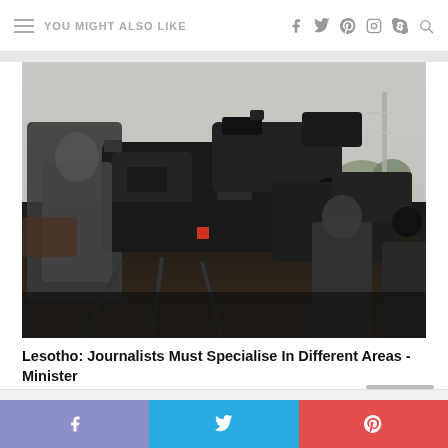YOU MIGHT ALSO LIKE
[Figure (photo): Group of journalists and videographers with large professional cameras on tripods at an outdoor event, dark silhouettes against a grey sky with trees and tower in background]
Lesotho: Journalists Must Specialise In Different Areas -Minister
Facebook | Twitter | Pinterest social share bar